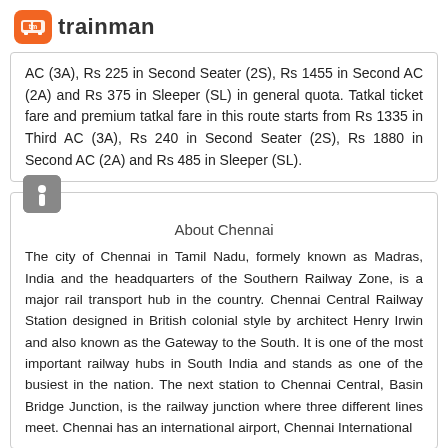[Figure (logo): Trainman logo: orange rounded square with 'tm' train icon, followed by the word 'trainman' in dark gray]
AC (3A), Rs 225 in Second Seater (2S), Rs 1455 in Second AC (2A) and Rs 375 in Sleeper (SL) in general quota. Tatkal ticket fare and premium tatkal fare in this route starts from Rs 1335 in Third AC (3A), Rs 240 in Second Seater (2S), Rs 1880 in Second AC (2A) and Rs 485 in Sleeper (SL).
About Chennai
The city of Chennai in Tamil Nadu, formely known as Madras, India and the headquarters of the Southern Railway Zone, is a major rail transport hub in the country. Chennai Central Railway Station designed in British colonial style by architect Henry Irwin and also known as the Gateway to the South. It is one of the most important railway hubs in South India and stands as one of the busiest in the nation. The next station to Chennai Central, Basin Bridge Junction, is the railway junction where three different lines meet. Chennai has an international airport, Chennai International...